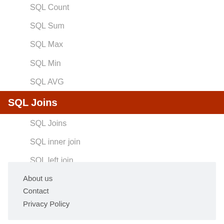SQL Count
SQL Sum
SQL Max
SQL Min
SQL AVG
SQL Joins
SQL Joins
SQL inner join
SQL left join
About us
Contact
Privacy Policy